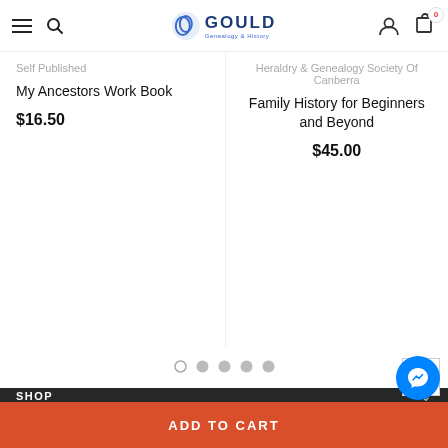Gould Genealogy & History — navigation bar with menu, search, logo, user account, cart (0)
Self Published
My Ancestors Work Book
$16.50
Heraldry & Genealogy Society Of Canberra
Family History for Beginners and Beyond
$45.00
[Figure (other): Carousel navigation dots — 5 dots, first is open circle (active), rest filled grey]
SHOP
TOP BRANDS
RELATED SITES
ADD TO CART